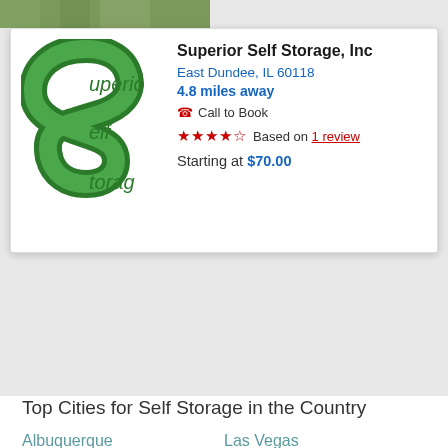[Figure (photo): Partial green outdoor photo strip at top]
[Figure (logo): Superior Self Storage logo — green stylized S with 'Superior Self Storage' text]
Superior Self Storage, Inc
East Dundee, IL 60118
4.8 miles away
Call to Book
Based on 1 review
Starting at $70.00
Top Cities for Self Storage in the Country
Albuquerque
Austin
Boston
Brooklyn
Charlotte
Chicago
Colorado Springs
Dallas
Las Vegas
Los Angeles
Miami
Nashville
New York
Philadelphia
Phoenix
San Antonio